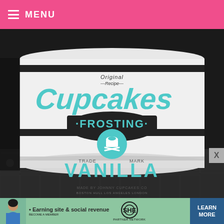MENU
[Figure (photo): Close-up photo of a Johnny Cupcakes frosting tin. The white cylindrical tin features teal/turquoise and black vintage-style lettering reading 'Original Recipe Cupcakes FROSTING VANILLA' with a skull-and-crossbones cupcake logo badge, and text 'TRADE MARK' and 'Made by Johnny Cupcakes Co. Boston Hull Los Angeles London'. Set on a patterned dark background.]
[Figure (infographic): Advertisement banner for SHE Media Partner Network featuring a woman and text 'Earning site & social revenue' with SHE logo, LEARN MORE button, and BECOME A MEMBER tagline.]